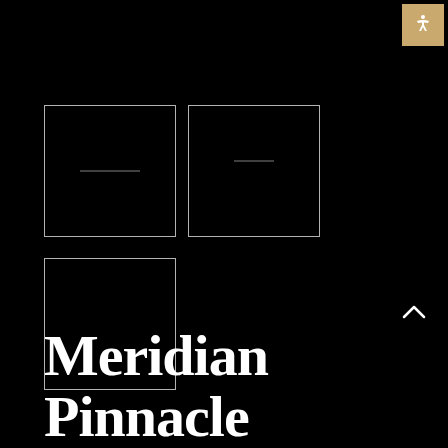[Figure (other): Accessibility icon button with person/human figure symbol on tan/gold background, top right corner]
[Figure (other): Three dark image thumbnail boxes with thin white borders arranged in an L-shape grid; top row has two boxes side by side, bottom row has one box on the left. Each box contains a faint horizontal line suggesting image placeholders.]
Meridian Pinnacle